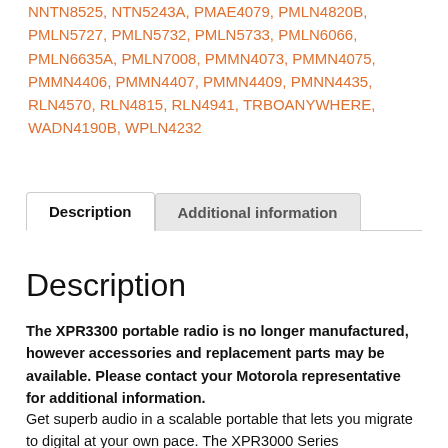NNTN8525, NTN5243A, PMAE4079, PMLN4820B, PMLN5727, PMLN5732, PMLN5733, PMLN6066, PMLN6635A, PMLN7008, PMMN4073, PMMN4075, PMMN4406, PMMN4407, PMMN4409, PMNN4435, RLN4570, RLN4815, RLN4941, TRBOANYWHERE, WADN4190B, WPLN4232
Description | Additional information
Description
The XPR3300 portable radio is no longer manufactured, however accessories and replacement parts may be available. Please contact your Motorola representative for additional information.
Get superb audio in a scalable portable that lets you migrate to digital at your own pace. The XPR3000 Series features intelligent audio enhancement for